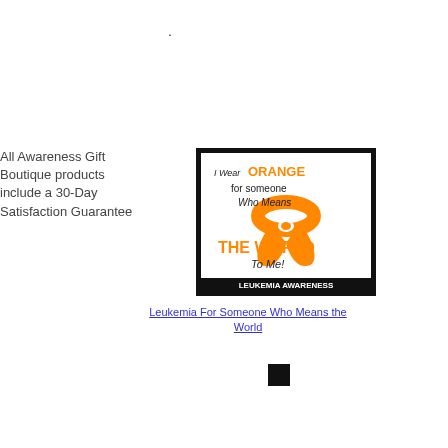.
All Awareness Gift Boutique products include a 30-Day Satisfaction Guarantee
[Figure (illustration): Black-bordered square image with orange awareness ribbon and text reading: I Wear ORANGE for someone Who Means THE WORLD To Me! LEUKEMIA AWARENESS]
Leukemia For Someone Who Means the World
[Figure (other): Small black square thumbnail image]